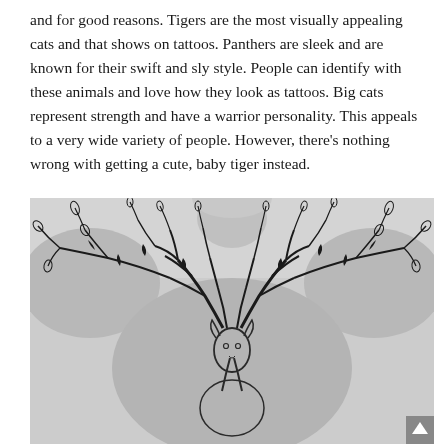and for good reasons. Tigers are the most visually appealing cats and that shows on tattoos. Panthers are sleek and are known for their swift and sly style. People can identify with these animals and love how they look as tattoos. Big cats represent strength and have a warrior personality. This appeals to a very wide variety of people. However, there's nothing wrong with getting a cute, baby tiger instead.
[Figure (photo): Black and white photograph of a person's back featuring a large tattoo of a deer/stag with elaborately branching antlers that extend across the upper back and shoulders, with leafy botanical elements at the tips of the antler branches.]